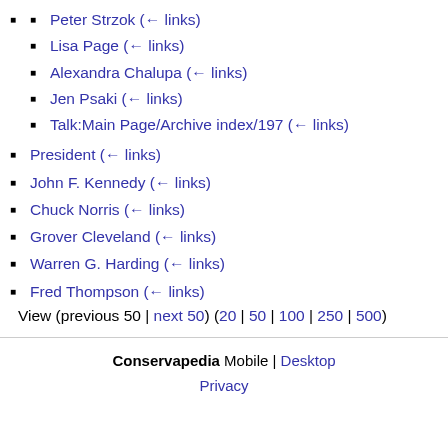Peter Strzok (← links)
Lisa Page (← links)
Alexandra Chalupa (← links)
Jen Psaki (← links)
Talk:Main Page/Archive index/197 (← links)
President (← links)
John F. Kennedy (← links)
Chuck Norris (← links)
Grover Cleveland (← links)
Warren G. Harding (← links)
Fred Thompson (← links)
View (previous 50 | next 50) (20 | 50 | 100 | 250 | 500)
Conservapedia  Mobile | Desktop  Privacy